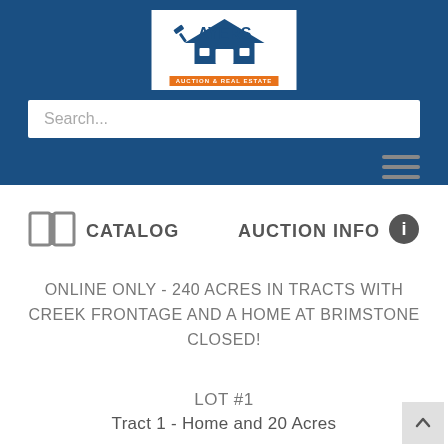[Figure (logo): Ayers Auction & Real Estate logo with house and gavel icon on white background, navy text, orange tagline bar]
Search...
[Figure (illustration): Hamburger menu icon (three horizontal lines) in grey]
[Figure (illustration): Open book / catalog icon in grey]
CATALOG
AUCTION INFO
[Figure (illustration): Info circle icon in dark grey]
ONLINE ONLY - 240 ACRES IN TRACTS WITH CREEK FRONTAGE AND A HOME AT BRIMSTONE CLOSED!
LOT #1
Tract 1 - Home and 20 Acres